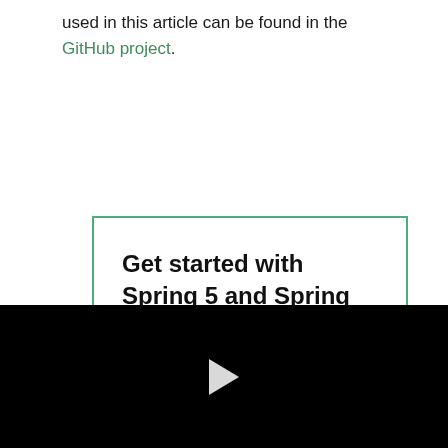used in this article can be found in the GitHub project.
[Figure (other): Promotional box with green border containing text: 'Get started with Spring 5 and Spring Boot 2, through the Learn Spring course:' followed by a 'CHECK OUT THE COURSE' link, and a black video player area with a play button]